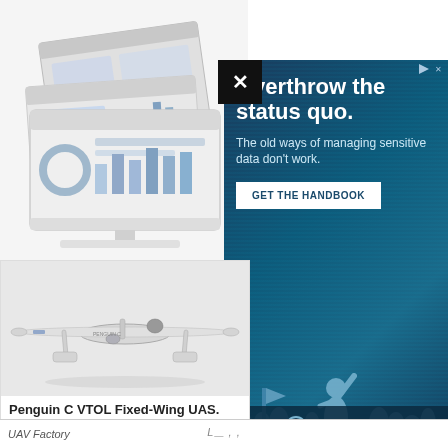[Figure (photo): Marketing banner showing floating computer monitor screens with dashboard/analytics software displayed on them, on a white background]
[Figure (photo): Penguin C VTOL Fixed-Wing UAV drone, white aircraft with long wings, photographed against white background]
Penguin C VTOL Fixed-Wing UAS. 14+ flight endurance, 180 kilometer range
[Figure (infographic): Advertisement for Leapyear data security. Dark blue background with silhouette of person raising fist with crowd. Text: 'Overthrow the status quo. The old ways of managing sensitive data don't work.' Button: 'GET THE HANDBOOK'. Logo: LEAPYEAR]
UAV Factory